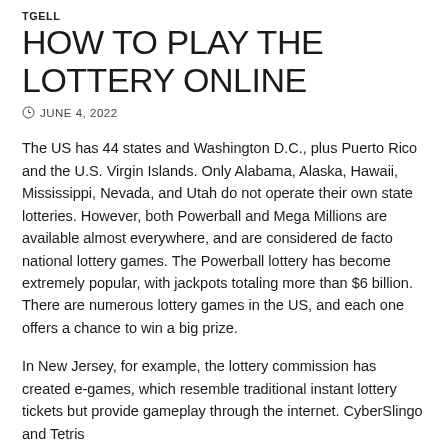TGELL
HOW TO PLAY THE LOTTERY ONLINE
JUNE 4, 2022
The US has 44 states and Washington D.C., plus Puerto Rico and the U.S. Virgin Islands. Only Alabama, Alaska, Hawaii, Mississippi, Nevada, and Utah do not operate their own state lotteries. However, both Powerball and Mega Millions are available almost everywhere, and are considered de facto national lottery games. The Powerball lottery has become extremely popular, with jackpots totaling more than $6 billion. There are numerous lottery games in the US, and each one offers a chance to win a big prize.
In New Jersey, for example, the lottery commission has created e-games, which resemble traditional instant lottery tickets but provide gameplay through the internet. CyberSlingo and Tetris